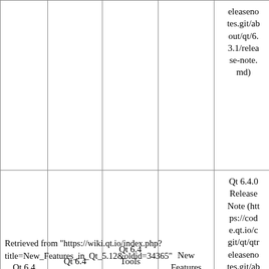|  |  |  |  |  |  |
| --- | --- | --- | --- | --- | --- |
|  |  |  |  | eleasenotes.git/about/qt/6.3.1/release-note.md) |  |
| Qt 6.4 | Qt 6.4 Release | Qt 6.4 Tools and Versions | New Features in Qt 6.4 | Qt 6.4.0 Release Note (https://code.qt.io/cgit/qt/qtreleasenotes.git/about/qt/6.4.0/release-note.md) | Qt 6.4.0 Known Issues |
Retrieved from "https://wiki.qt.io/index.php?title=New_Features_in_Qt_5.12&oldid=34365"